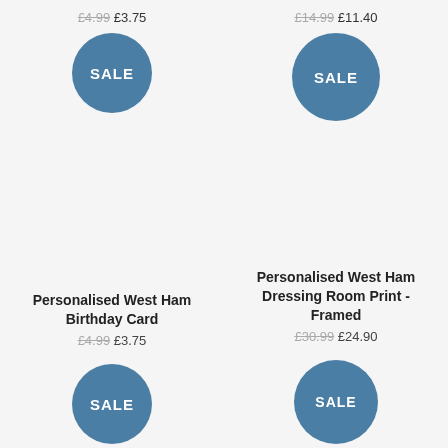£4.99 £3.75
[Figure (other): Blue circular SALE badge, top left product]
£14.99 £11.40
[Figure (other): Blue circular SALE badge, top right product]
Personalised West Ham Birthday Card
£4.99 £3.75
Personalised West Ham Dressing Room Print - Framed
£30.99 £24.90
[Figure (other): Blue circular SALE badge, bottom left product]
[Figure (other): Blue circular SALE badge, bottom right product]